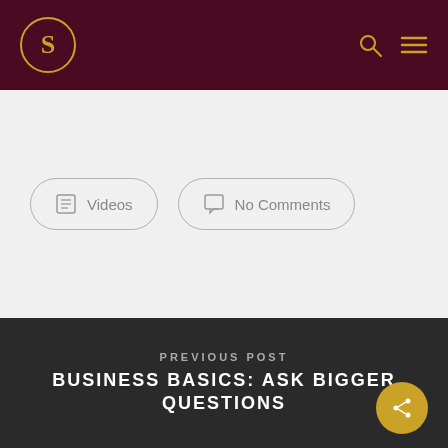S [logo] [search icon] [menu icon]
Videos
No Comments
PREVIOUS POST
BUSINESS BASICS: ASK BIGGER QUESTIONS